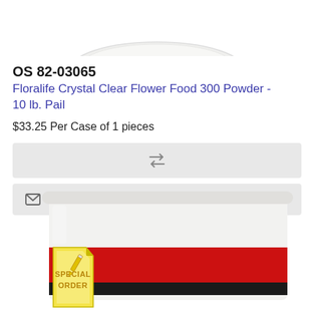[Figure (photo): Bottom portion of a white plastic pail/bucket lid, partially cropped at the top of the page.]
OS 82-03065
Floralife Crystal Clear Flower Food 300 Powder - 10 lb. Pail
$33.25 Per Case of 1 pieces
[Figure (other): Repeat/refresh icon button in a light grey rounded rectangle button area.]
[Figure (other): Envelope icon with text 'Notify me when available' in a light grey rounded rectangle button area.]
[Figure (photo): Bottom portion of a white plastic pail with a red label band, partially visible at the bottom of the page. A 'SPECIAL ORDER' badge with yellow text and pencil icon overlays the lower left of the pail.]